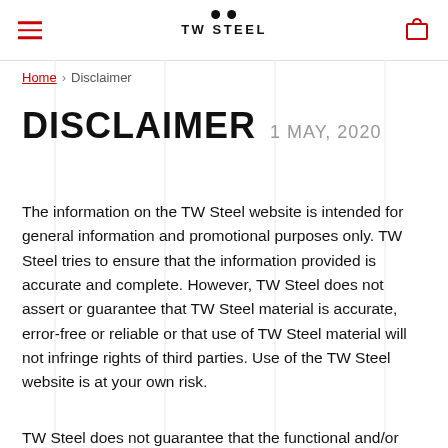TW STEEL
Home › Disclaimer
DISCLAIMER  1 MAY, 2020
The information on the TW Steel website is intended for general information and promotional purposes only. TW Steel tries to ensure that the information provided is accurate and complete. However, TW Steel does not assert or guarantee that TW Steel material is accurate, error-free or reliable or that use of TW Steel material will not infringe rights of third parties. Use of the TW Steel website is at your own risk.
TW Steel does not guarantee that the functional and/or